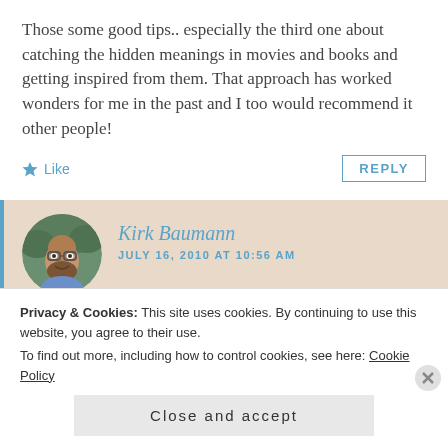Those some good tips.. especially the third one about catching the hidden meanings in movies and books and getting inspired from them. That approach has worked wonders for me in the past and I too would recommend it other people!
Like
REPLY
Kirk Baumann
JULY 16, 2010 AT 10:56 AM
Privacy & Cookies: This site uses cookies. By continuing to use this website, you agree to their use.
To find out more, including how to control cookies, see here: Cookie Policy
Close and accept